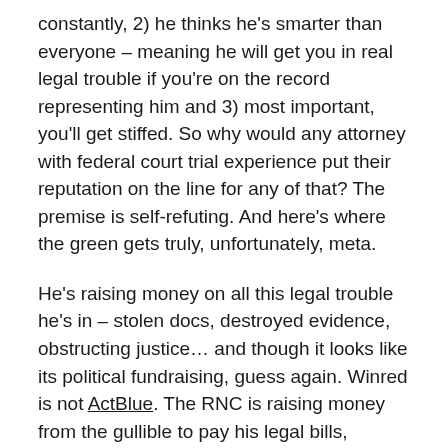constantly, 2) he thinks he's smarter than everyone – meaning he will get you in real legal trouble if you're on the record representing him and 3) most important, you'll get stiffed. So why would any attorney with federal court trial experience put their reputation on the line for any of that? The premise is self-refuting. And here's where the green gets truly, unfortunately, meta.
He's raising money on all this legal trouble he's in – stolen docs, destroyed evidence, obstructing justice… and though it looks like its political fundraising, guess again. Winred is not ActBlue. The RNC is raising money from the gullible to pay his legal bills, causing them to also pull out of media buys for weak candidates, which is all fine with me, sure. But let's call it what it is: green from the green to protect a racket of degenerate hucksterism.
Wasn't it weird how fast the feds returned his passports? I mean, go ahead!